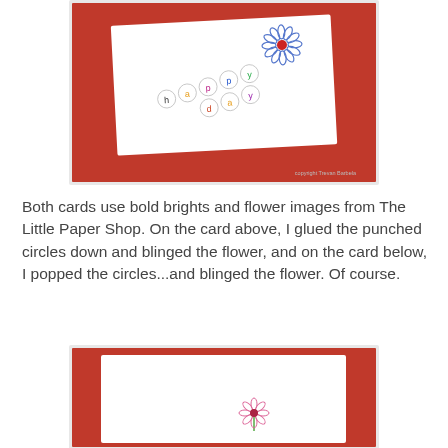[Figure (photo): Photograph of a white greeting card propped against a red background. The card reads 'happy day' in colorful circular letter stickers arranged diagonally, with a blue daisy flower with a red center gem in the upper right. Copyright text visible in lower right corner.]
Both cards use bold brights and flower images from The Little Paper Shop. On the card above, I glued the punched circles down and blinged the flower, and on the card below, I popped the circles...and blinged the flower. Of course.
[Figure (photo): Photograph of a white greeting card propped against a red background. The card shows a small simple pink daisy flower with a dark center on a green stem, positioned near the bottom right area of the card.]